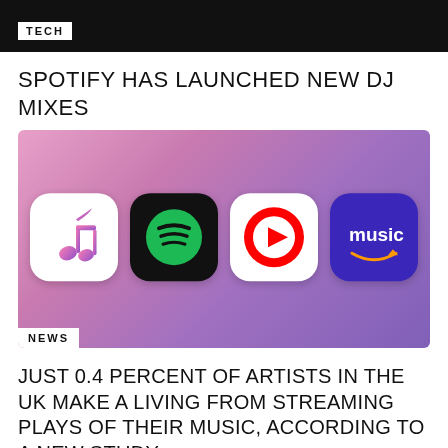TECH
SPOTIFY HAS LAUNCHED NEW DJ MIXES
[Figure (photo): Four music streaming app icons (Apple Music, Spotify, YouTube Music, Amazon Music) on a purple-pink gradient background, with a NEWS label in the bottom-left corner]
JUST 0.4 PERCENT OF ARTISTS IN THE UK MAKE A LIVING FROM STREAMING PLAYS OF THEIR MUSIC, ACCORDING TO A NEW STUDY.